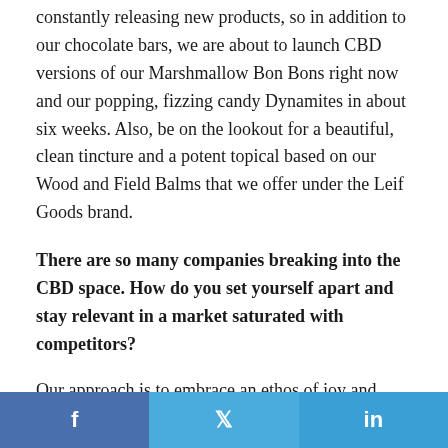constantly releasing new products, so in addition to our chocolate bars, we are about to launch CBD versions of our Marshmallow Bon Bons right now and our popping, fizzing candy Dynamites in about six weeks. Also, be on the lookout for a beautiful, clean tincture and a potent topical based on our Wood and Field Balms that we offer under the Leif Goods brand.
There are so many companies breaking into the CBD space. How do you set yourself apart and stay relevant in a market saturated with competitors?
Our approach is to embrace an ethos of joy and optimism through the brand. Many CBD products rely upon a subdued, albeit often beautiful, approach that reads very wellness and beauty product oriented. We want to buck this
f  t  in